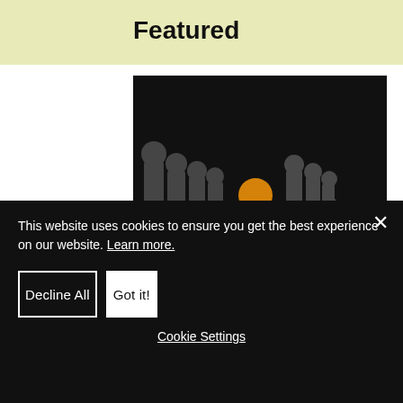Featured
[Figure (photo): A 3D render of a golden/orange human figure stepping out from a row of dark grey identical figures lined up in perspective, against a dark background with spotlight effect on the floor.]
This website uses cookies to ensure you get the best experience on our website. Learn more.
Decline All
Got it!
Cookie Settings